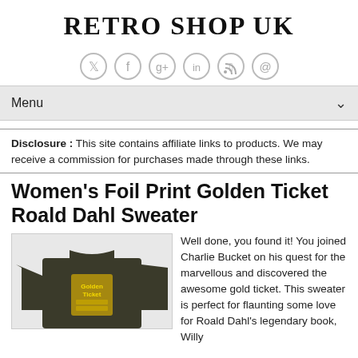RETRO SHOP UK
[Figure (infographic): Social media icons: Twitter, Facebook, Google+, LinkedIn, RSS, Email — circular outlined icons in grey]
Menu
Disclosure : This site contains affiliate links to products. We may receive a commission for purchases made through these links.
Women's Foil Print Golden Ticket Roald Dahl Sweater
[Figure (photo): Dark olive/khaki women's long sleeve sweater with gold foil Golden Ticket print on the front]
Well done, you found it! You joined Charlie Bucket on his quest for the marvellous and discovered the awesome gold ticket. This sweater is perfect for flaunting some love for Roald Dahl's legendary book, Willy